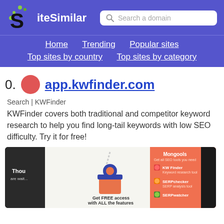SiteSimilar — Search a domain — Home | Trending | Popular sites | Top sites by country | Top sites by category
40. app.kwfinder.com
Search | KWFinder
KWFinder covers both traditional and competitor keyword research to help you find long-tail keywords with low SEO difficulty. Try it for free!
[Figure (screenshot): Screenshot of app.kwfinder.com showing Mongools interface with 'Get FREE access with ALL the features' promotional panel and KWFinder tool listings]